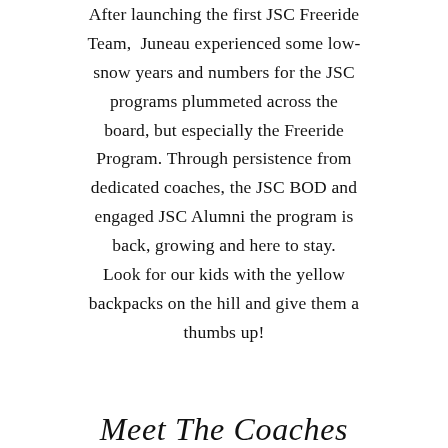After launching the first JSC Freeride Team, Juneau experienced some low-snow years and numbers for the JSC programs plummeted across the board, but especially the Freeride Program. Through persistence from dedicated coaches, the JSC BOD and engaged JSC Alumni the program is back, growing and here to stay. Look for our kids with the yellow backpacks on the hill and give them a thumbs up!
Meet The Coaches